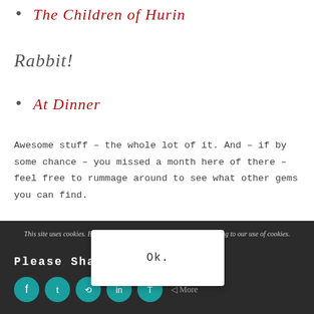The Children of Hurin
Rabbit!
At Dinner
Awesome stuff – the whole lot of it. And – if by some chance – you missed a month here of there – feel free to rummage around to see what other gems you can find.
This site uses cookies. By continuing to browse the site, you are agreeing to our use of cookies.
Please Share!
Ok.